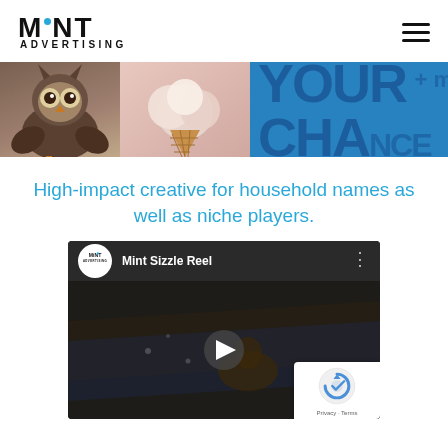MINT ADVERTISING (logo) — hamburger menu
[Figure (photo): Banner image showing an owl on the left, ice cream in the center, and large blue text on the right reading 'YOUR CHANCE' on a blue background]
High-impact creative for household names as well as niche players.
[Figure (screenshot): YouTube video embed titled 'Mint Sizzle Reel' showing the Mint Advertising logo, video title bar, and a dark video thumbnail with a play button, plus a reCAPTCHA badge in the bottom right corner]